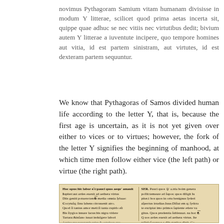novimus Pythagoram Samium vitam humanam divisisse in modum Y litterae, scilicet quod prima aetas incerta sit, quippe quae adhuc se nec vitiis nec virtutibus dedit; bivium autem Y litterae a iuventute incipere, quo tempore homines aut vitia, id est partem sinistram, aut virtutes, id est dexteram partem sequuntur.
We know that Pythagoras of Samos divided human life according to the letter Y, that is, because the first age is uncertain, as it is not yet given over either to vices or to virtues; however, the fork of the letter Y signifies the beginning of manhood, at which time men follow either vice (the left path) or virtue (the right path).
[Figure (photo): Manuscript page showing two columns of Latin text in early printed or handwritten Gothic/blackletter typeface. Left column begins with 'Hoc opus: hic labor est...' and right column begins with 'SER. Pauci quos...' The text appears to be from Virgil's Aeneid or similar classical Latin work.]